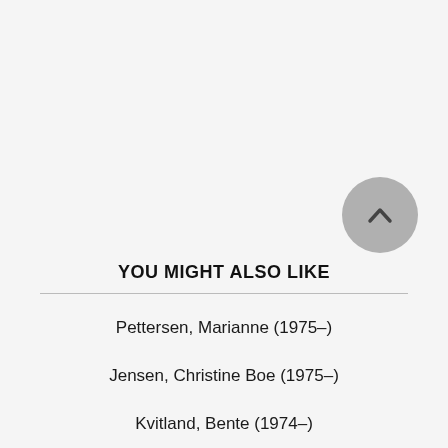YOU MIGHT ALSO LIKE
Pettersen, Marianne (1975–)
Jensen, Christine Boe (1975–)
Kvitland, Bente (1974–)